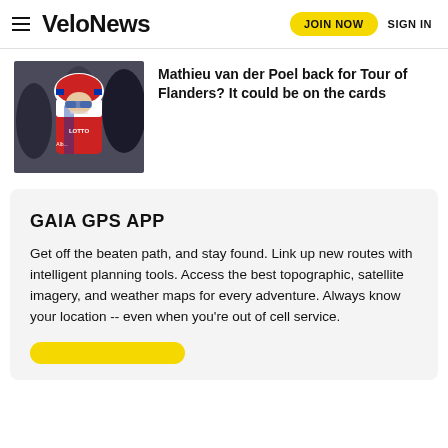VeloNews — JOIN NOW   SIGN IN
[Figure (photo): Cyclist wearing red and white jersey and helmet with blue tinted glasses, looking to the side]
Mathieu van der Poel back for Tour of Flanders? It could be on the cards
GAIA GPS APP
Get off the beaten path, and stay found. Link up new routes with intelligent planning tools. Access the best topographic, satellite imagery, and weather maps for every adventure. Always know your location -- even when you're out of cell service.